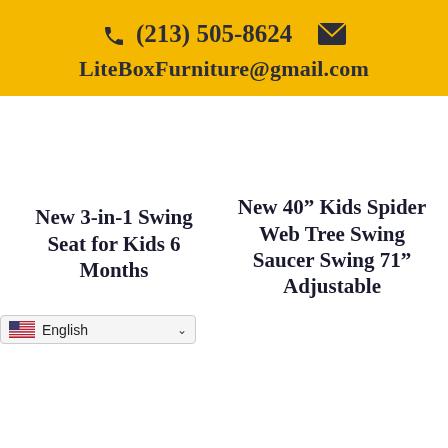📞 (213) 505-8624  ✉  LiteBoxFurniture@gmail.com
New 3-in-1 Swing Seat for Kids 6 Months
New 40" Kids Spider Web Tree Swing Saucer Swing 71" Adjustable
English